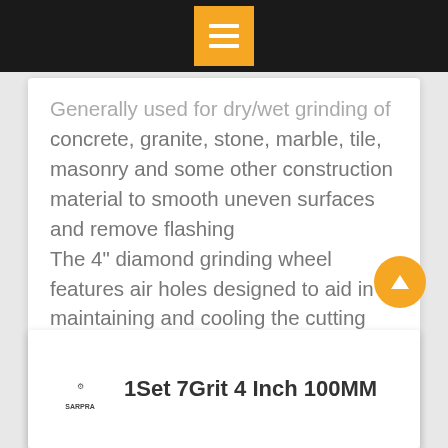Menu navigation bar with hamburger icon
Generally used for dry/wet grinding of concrete, granite, stone, marble, tile, masonry and some other construction material to smooth uneven surfaces and remove flashing
The 4" diamond grinding wheel features air holes designed to aid in maintaining and cooling the cutting pattern and reducing wear
We provide 5-Year Worry and Unconditional 90-Day & Technical Support. Buy with confidence.
[Figure (other): Orange circular scroll-to-top button with upward arrow icon]
[Figure (logo): SARPRA brand logo in small text]
1Set 7Grit 4 Inch 100MM